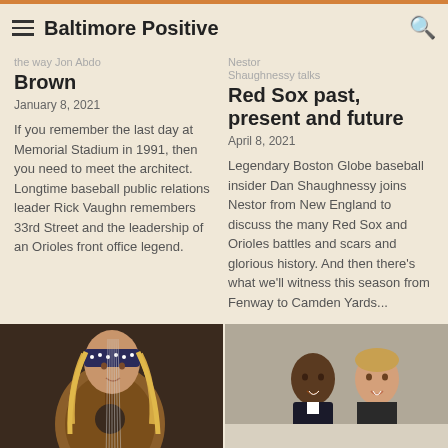Baltimore Positive
Brown
January 8, 2021
If you remember the last day at Memorial Stadium in 1991, then you need to meet the architect. Longtime baseball public relations leader Rick Vaughn remembers 33rd Street and the leadership of an Orioles front office legend.
Shaughnessy talks Red Sox past, present and future
April 8, 2021
Legendary Boston Globe baseball insider Dan Shaughnessy joins Nestor from New England to discuss the many Red Sox and Orioles battles and scars and glorious history. And then there's what we'll witness this season from Fenway to Camden Yards...
[Figure (photo): Photo of a person with long blonde hair and a bandana, holding a guitar]
[Figure (photo): Photo of two men smiling together indoors]